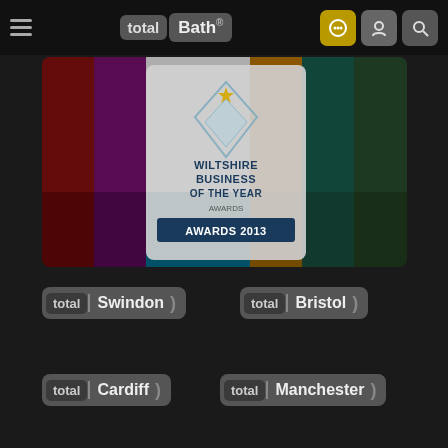total Bath® [navigation header with hamburger menu, logo, and icons]
[Figure (screenshot): TV color test bars with Wiltshire Business of the Year Awards 2013 trophy overlay centered on the image]
[Figure (logo): total Swindon logo button]
[Figure (logo): total Bristol logo button]
[Figure (logo): total Cardiff logo button]
[Figure (logo): total Manchester logo button]